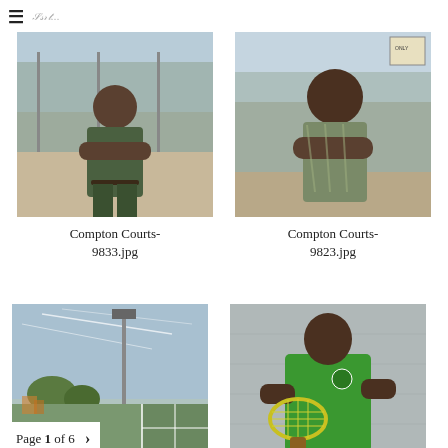≡  [logo/signature]
[Figure (photo): Man with arms crossed standing in front of chain-link fence and tennis courts]
Compton Courts-9833.jpg
[Figure (photo): Close-up of same man with arms crossed in front of chain-link fence]
Compton Courts-9823.jpg
[Figure (photo): Outdoor tennis courts with floodlight pole and sky with contrails]
[Figure (photo): Man in green Compton shirt holding a yellow tennis racket]
Page 1 of 6  >